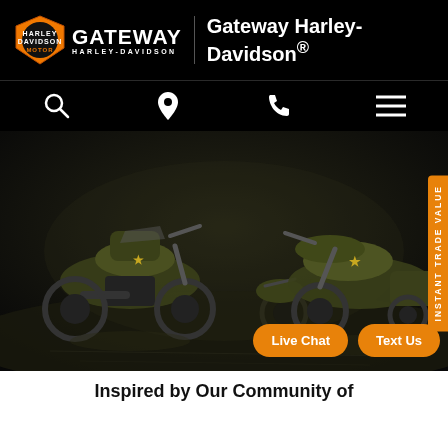Gateway Harley-Davidson®
[Figure (logo): Gateway Harley-Davidson logo with HD shield emblem and GATEWAY HARLEY-DAVIDSON wordmark]
[Figure (photo): Dark atmospheric photo of three olive-green military-styled Harley-Davidson motorcycles on a wet reflective floor in a dark industrial setting]
INSTANT TRADE VALUE
Live Chat
Text Us
Inspired by Our Community of